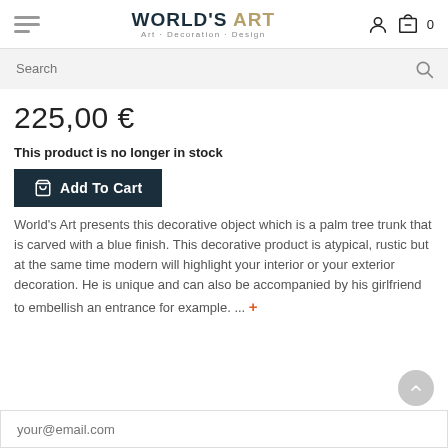WORLD'S ART — Art · Decoration · Design
Search
225,00 €
This product is no longer in stock
Add To Cart
World's Art presents this decorative object which is a palm tree trunk that is carved with a blue finish. This decorative product is atypical, rustic but at the same time modern will highlight your interior or your exterior decoration. He is unique and can also be accompanied by his girlfriend to embellish an entrance for example. ...
your@email.com